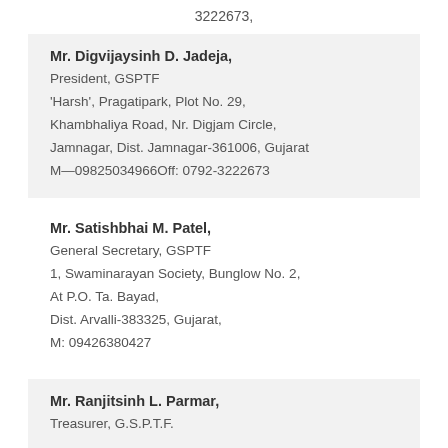3222673,
Mr. Digvijaysinh D. Jadeja, President, GSPTF, ‘Harsh’, Pragatipark, Plot No. 29, Khambhaliya Road, Nr. Digjam Circle, Jamnagar, Dist. Jamnagar-361006, Gujarat M—09825034966Off: 0792-3222673
Mr. Satishbhai M. Patel, General Secretary, GSPTF, 1, Swaminarayan Society, Bunglow No. 2, At P.O. Ta. Bayad, Dist. Arvalli-383325, Gujarat, M: 09426380427
Mr. Ranjitsinh L. Parmar, Treasurer, G.S.P.T.F.